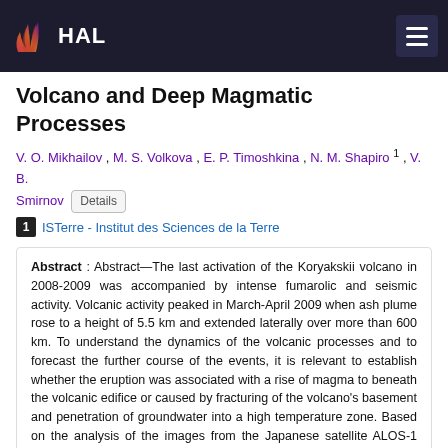HAL
Volcano and Deep Magmatic Processes
V. O. Mikhailov , M. S. Volkova , E. P. Timoshkina , N. M. Shapiro 1 , V. B. Smirnov Details
1 ISTerre - Institut des Sciences de la Terre
Abstract : Abstract—The last activation of the Koryakskii volcano in 2008-2009 was accompanied by intense fumarolic and seismic activity. Volcanic activity peaked in March-April 2009 when ash plume rose to a height of 5.5 km and extended laterally over more than 600 km. To understand the dynamics of the volcanic processes and to forecast the further course of the events, it is relevant to establish whether the eruption was associated with a rise of magma to beneath the volcanic edifice or caused by fracturing of the volcano's basement and penetration of groundwater into a high temperature zone. Based on the analysis of the images from the Japanese satellite ALOS-1 using satellite radar interferometry methods, the slope displacements of the Koryakskii volcano during its last activation have been estimated for the first time. The displacements reach 25 cm and cannot be explained by the formation of a layer of volcanic ash deposits or by the slope processes. The most likely cause of the displacements should